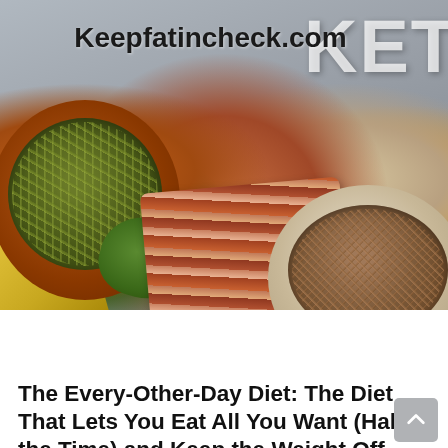[Figure (photo): Hero image showing keto diet foods including a bowl of pumpkin seeds, bacon strips, a bowl of flax seeds, avocado slice, and cheese on a grey concrete background. Text 'Keepfatincheck.com' overlaid at top center and 'KETO' watermark at top right.]
Keepfatincheck.com
MENU
The Every-Other-Day Diet: The Diet That Lets You Eat All You Want (Half the Time) and Keep the Weight Off
admin  Ketogenic Diet Cookbook 500 Recipes